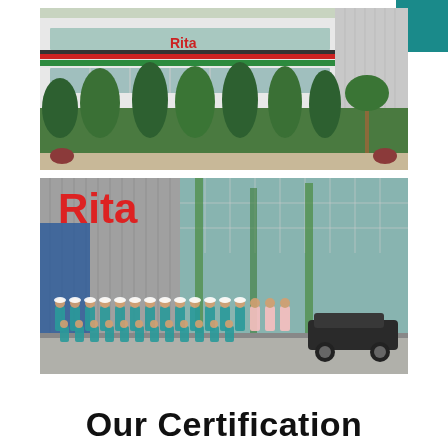[Figure (photo): Exterior photograph of the Rita company building — a modern multi-storey factory/office with a glass facade, green hedge in front, red Rita logo on the side, and a teal rectangle in the top-right corner of the page.]
[Figure (photo): Exterior photograph of the Rita company building showing a large red 'Rita' logo on the facade, with a group of employees in teal uniforms and white hard hats posing in front.]
Our Certification